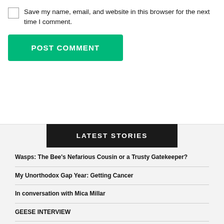Save my name, email, and website in this browser for the next time I comment.
POST COMMENT
LATEST STORIES
Wasps: The Bee's Nefarious Cousin or a Trusty Gatekeeper?
My Unorthodox Gap Year: Getting Cancer
In conversation with Mica Millar
GEESE INTERVIEW
Jacob Collier embarks on UK tour